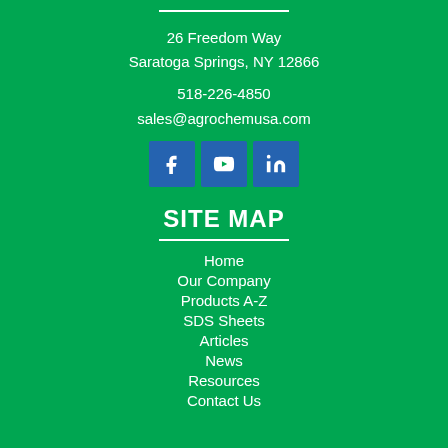26 Freedom Way
Saratoga Springs, NY 12866
518-226-4850
sales@agrochemusa.com
[Figure (illustration): Three social media icons: Facebook, YouTube, LinkedIn]
SITE MAP
Home
Our Company
Products A-Z
SDS Sheets
Articles
News
Resources
Contact Us